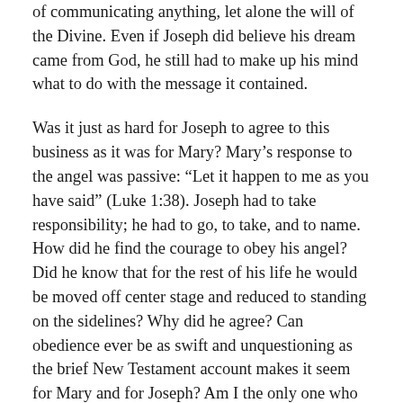of communicating anything, let alone the will of the Divine. Even if Joseph did believe his dream came from God, he still had to make up his mind what to do with the message it contained.
Was it just as hard for Joseph to agree to this business as it was for Mary? Mary's response to the angel was passive: “Let it happen to me as you have said” (Luke 1:38). Joseph had to take responsibility; he had to go, to take, and to name. How did he find the courage to obey his angel? Did he know that for the rest of his life he would be moved off center stage and reduced to standing on the sidelines? Why did he agree? Can obedience ever be as swift and unquestioning as the brief New Testament account makes it seem for Mary and for Joseph? Am I the only one who wrestles with obedience?
Traditional Christmas cards frequently feature what one writer has called “an annual ritual humiliation for Joseph.” He offers no lamb, gold, or frankincense. He does not even